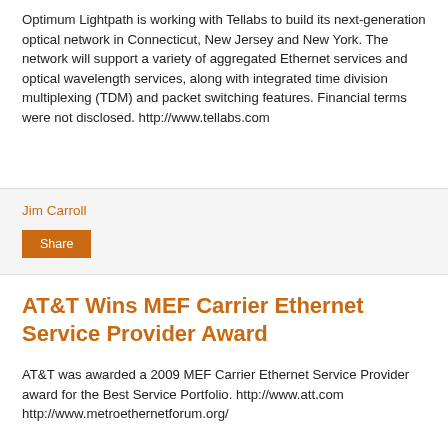Optimum Lightpath is working with Tellabs to build its next-generation optical network in Connecticut, New Jersey and New York. The network will support a variety of aggregated Ethernet services and optical wavelength services, along with integrated time division multiplexing (TDM) and packet switching features. Financial terms were not disclosed. http://www.tellabs.com
Jim Carroll
Share
AT&T Wins MEF Carrier Ethernet Service Provider Award
AT&T was awarded a 2009 MEF Carrier Ethernet Service Provider award for the Best Service Portfolio. http://www.att.com http://www.metroethernetforum.org/